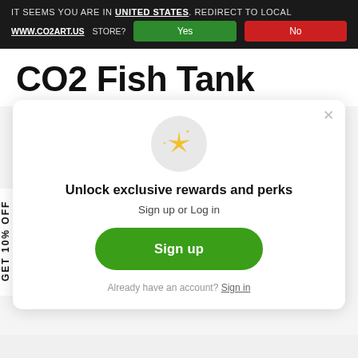IT SEEMS YOU ARE IN UNITED STATES. REDIRECT TO LOCAL WWW.CO2ART.US STORE? Yes No
CO2 Fish Tank
[Figure (screenshot): Modal popup with sparkle emoji icon, 'Unlock exclusive rewards and perks' heading, 'Sign up or Log in' subtext, green Sign up button, and 'Already have an account? Sign in' link. Close (x) button in top right.]